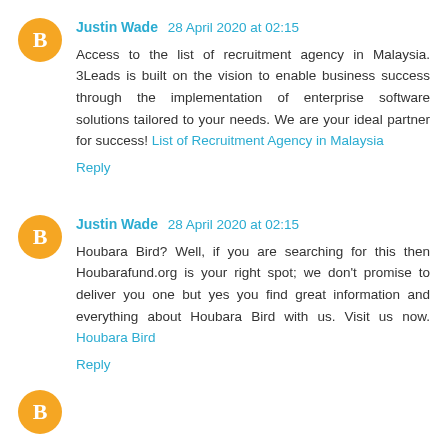Justin Wade 28 April 2020 at 02:15
Access to the list of recruitment agency in Malaysia. 3Leads is built on the vision to enable business success through the implementation of enterprise software solutions tailored to your needs. We are your ideal partner for success! List of Recruitment Agency in Malaysia
Reply
Justin Wade 28 April 2020 at 02:15
Houbara Bird? Well, if you are searching for this then Houbarafund.org is your right spot; we don't promise to deliver you one but yes you find great information and everything about Houbara Bird with us. Visit us now. Houbara Bird
Reply